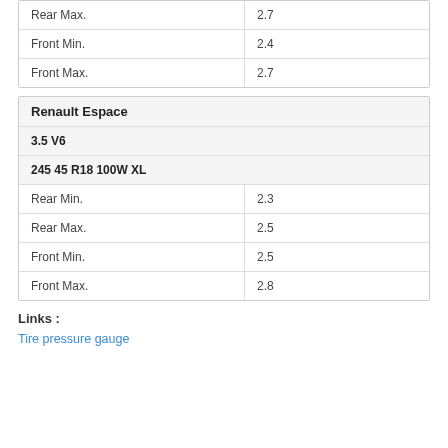| Rear Max. | 2.7 |
| Front Min. | 2.4 |
| Front Max. | 2.7 |
| Renault Espace |
| --- |
| 3.5 V6 |  |
| 245 45 R18 100W XL |  |
| Rear Min. | 2.3 |
| Rear Max. | 2.5 |
| Front Min. | 2.5 |
| Front Max. | 2.8 |
Links :
Tire pressure gauge